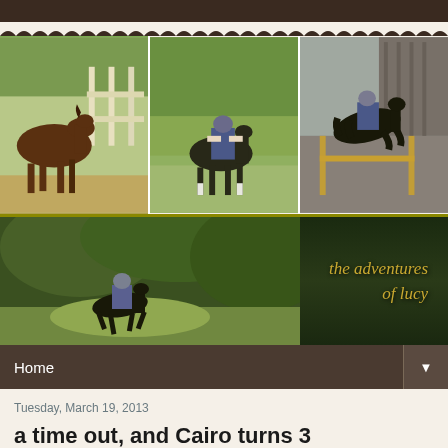[Figure (photo): Three equestrian photos side by side: left shows a dark bay horse running in a paddock with white fence; center shows a rider on a dark horse trotting in a green field; right shows a rider jumping a dark horse over a fence near a barn.]
[Figure (photo): Blog header banner with a rider on a dark horse galloping cross-country through green foliage, with blog title 'the adventures of lucy' in golden italic text on the right side over dark green background.]
Home
Tuesday, March 19, 2013
a time out, and Cairo turns 3
[Figure (photo): Partial bottom photo showing horses, appears to be a barn or paddock scene, partially cut off at bottom of page.]